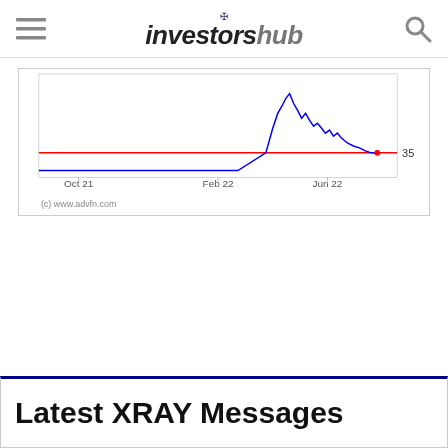investorshub
[Figure (continuous-plot): Stock price chart showing XRAY price movement from Oct 21 to Jun 22 with a horizontal red line at 35 and a blue price line that peaks around Jun 22 before declining to approximately 35.]
Latest XRAY Messages